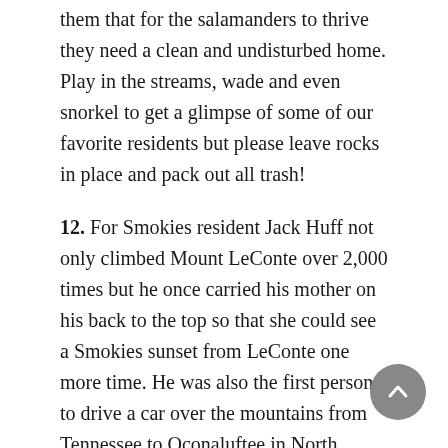them that for the salamanders to thrive they need a clean and undisturbed home. Play in the streams, wade and even snorkel to get a glimpse of some of our favorite residents but please leave rocks in place and pack out all trash!
12. For Smokies resident Jack Huff not only climbed Mount LeConte over 2,000 times but he once carried his mother on his back to the top so that she could see a Smokies sunset from LeConte one more time. He was also the first person to drive a car over the mountains from Tennessee to Oconaluftee in North Carolina in 1930. How did he pull that off? They took the car wheels off and replaced them with rail